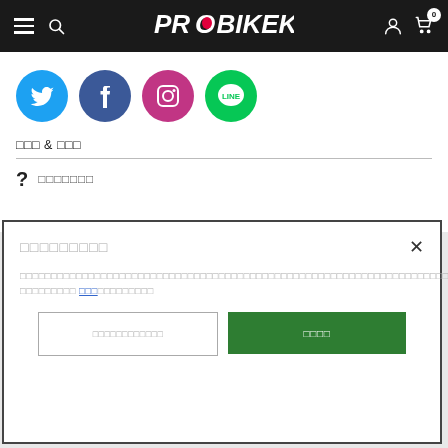PROBIKEKIT
[Figure (logo): ProBikeKit navigation header with hamburger menu, search icon, PROBIKEKIT logo, user icon, and cart icon with badge '0']
[Figure (infographic): Social media icons row: Twitter (blue circle), Facebook (dark blue circle), Instagram (pink circle), LINE (green circle)]
□□□ & □□□
? □□□□□□□
□□□□□□□□□
□□□□□□□□□□□□□□□□□□□□□□□□□□□□□□□□□□□□□□□□□□□□□□□□□□□□□□□□□□□□□□□□□□□□□□□□□□□□□□□□□□□□□□□□□□□□□ □□□□□□□□□ □□□□□□□□□□□□□□
□□□□□□□□□□□□ | □□□□